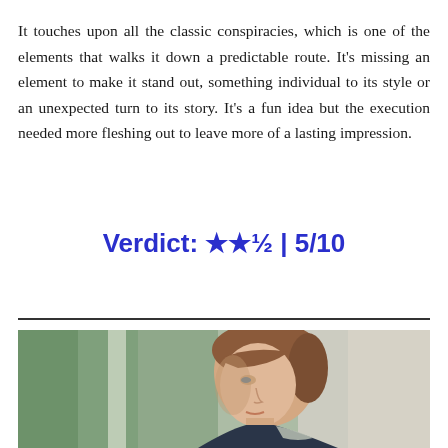It touches upon all the classic conspiracies, which is one of the elements that walks it down a predictable route. It's missing an element to make it stand out, something individual to its style or an unexpected turn to its story. It's a fun idea but the execution needed more fleshing out to leave more of a lasting impression.
Verdict: ★★½ | 5/10
[Figure (photo): A woman with red/auburn hair pulled back, facing slightly right in profile, with a serious or contemplative expression. She appears to be in an indoor setting with blurred green and neutral tones in the background. She is wearing what appears to a dark top or uniform with a light-colored scarf or cloth draped over her shoulder.]